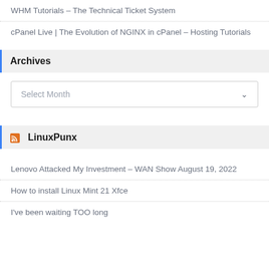WHM Tutorials – The Technical Ticket System
cPanel Live | The Evolution of NGINX in cPanel – Hosting Tutorials
Archives
Select Month
LinuxPunx
Lenovo Attacked My Investment – WAN Show August 19, 2022
How to install Linux Mint 21 Xfce
I've been waiting TOO long